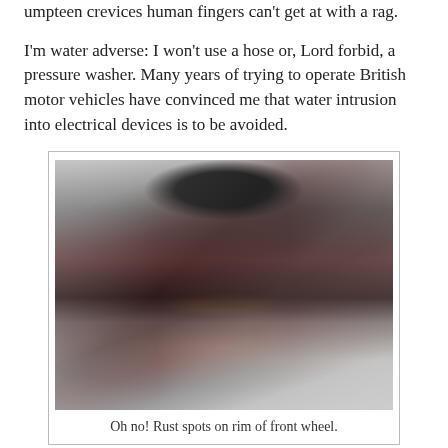umpteen crevices human fingers can't get at with a rag.
I'm water adverse: I won't use a hose or, Lord forbid, a pressure washer. Many years of trying to operate British motor vehicles have convinced me that water intrusion into electrical devices is to be avoided.
[Figure (photo): Close-up photo of rust spots on the chrome rim of a front wheel. The image shows dark rust staining and pitting on the shiny metallic surface.]
Oh no! Rust spots on rim of front wheel.
Most motor vehicles I've owned, British or not, rusted. Some were rusted before I bought them, but nothing I did tended to improve that. So I use the minimum amount of water I think